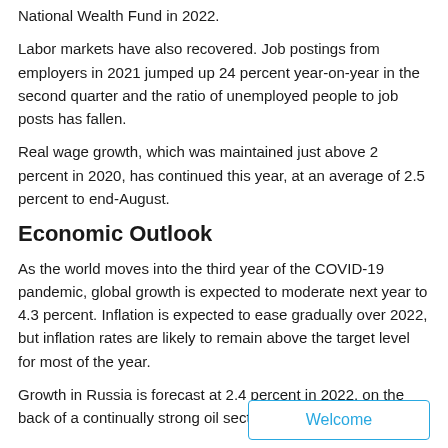National Wealth Fund in 2022.
Labor markets have also recovered. Job postings from employers in 2021 jumped up 24 percent year-on-year in the second quarter and the ratio of unemployed people to job posts has fallen.
Real wage growth, which was maintained just above 2 percent in 2020, has continued this year, at an average of 2.5 percent to end-August.
Economic Outlook
As the world moves into the third year of the COVID-19 pandemic, global growth is expected to moderate next year to 4.3 percent. Inflation is expected to ease gradually over 2022, but inflation rates are likely to remain above the target level for most of the year.
Growth in Russia is forecast at 2.4 percent in 2022, on the back of a continually strong oil sector, before slowing down